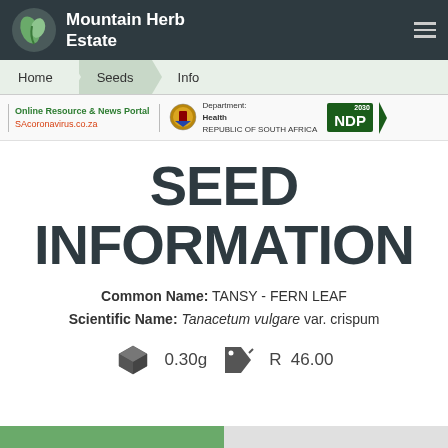Mountain Herb Estate
Home Seeds Info
[Figure (screenshot): SAcoronavirus.co.za banner with Department of Health Republic of South Africa logo and NDP 2030 badge]
SEED INFORMATION
Common Name: TANSY - FERN LEAF
Scientific Name: Tanacetum vulgare var. crispum
0.30g  R  46.00